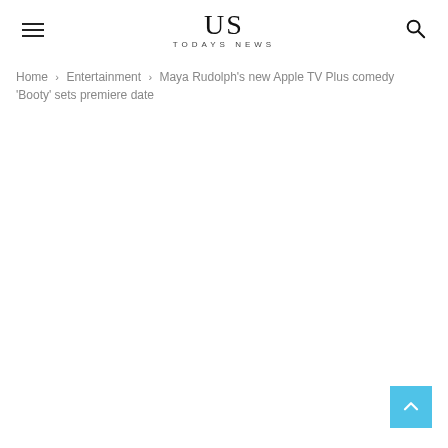US TODAYS NEWS
Home › Entertainment › Maya Rudolph's new Apple TV Plus comedy 'Booty' sets premiere date